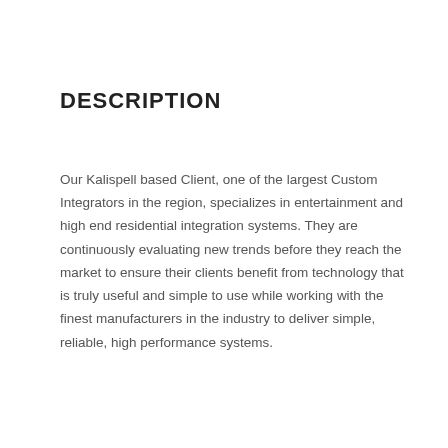DESCRIPTION
Our Kalispell based Client, one of the largest Custom Integrators in the region, specializes in entertainment and high end residential integration systems. They are continuously evaluating new trends before they reach the market to ensure their clients benefit from technology that is truly useful and simple to use while working with the finest manufacturers in the industry to deliver simple, reliable, high performance systems.